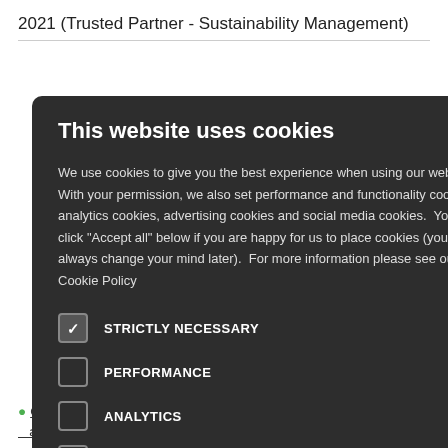2021 (Trusted Partner - Sustainability Management)
ctivities that the COP to fulfill metrics, and
uctures of all rporate
e chain
[Figure (screenshot): Cookie consent modal overlay on a dark background. Title: 'This website uses cookies'. Body text about cookie usage. Checkboxes for: STRICTLY NECESSARY (checked), PERFORMANCE, ANALYTICS, FUNCTIONALITY, SOCIAL MEDIA. Close button (x) top right.]
n carefully, both ing risks,
Communicate policies and expectations to suppliers and other relevant business partners